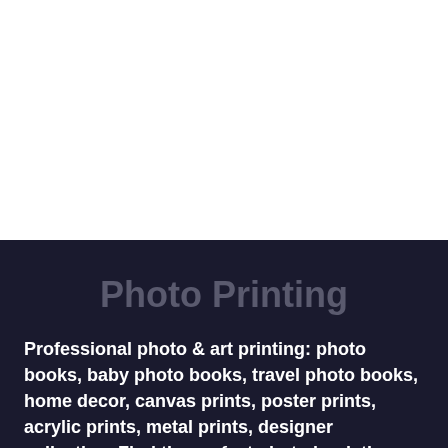[Figure (other): White blank area at the top half of the page]
Photo Printing
Professional photo & art printing: photo books, baby photo books, travel photo books, home decor, canvas prints, poster prints, acrylic prints, metal prints, designer collection. Find the perfect photo book theme for your project. Let's create something amazing together!